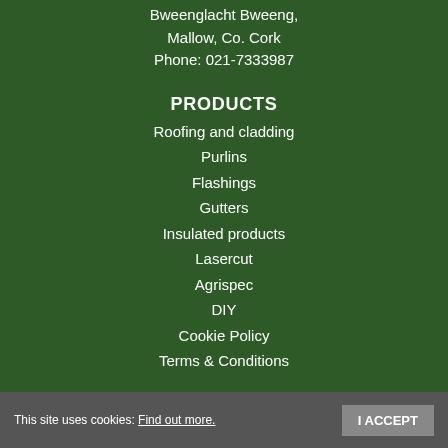Bweenglacht Bweeng, Mallow, Co. Cork Phone: 021-7333987
PRODUCTS
Roofing and cladding
Purlins
Flashings
Gutters
Insulated products
Lasercut
Agrispec
DIY
Cookie Policy
Terms & Conditions
FOLLOW US
[Figure (illustration): Facebook and LinkedIn social media icons (white circles with logos)]
This site uses cookies: Find out more.
I ACCEPT